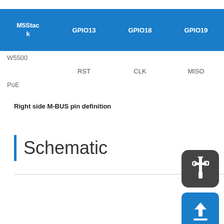| M5Stack | GPIO13 | GPIO18 | GPIO19 | GPIO23 | GPIO26 | GPIO3x |
| --- | --- | --- | --- | --- | --- | --- |
| W5500 |  |  |  |  |  |  |
|  | RST | CLK | MISO | MOSI | CS | INT |
| PoE |  |  |  |  |  |  |
Right side M-BUS pin definition
Schematic
[Figure (illustration): USB icon on dark grey rounded square background]
[Figure (illustration): Upload arrow icon on blue rounded square background]